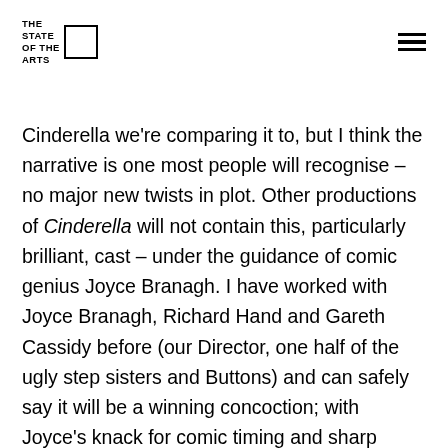THE STATE OF THE ARTS
Cinderella we're comparing it to, but I think the narrative is one most people will recognise – no major new twists in plot. Other productions of Cinderella will not contain this, particularly brilliant, cast – under the guidance of comic genius Joyce Branagh. I have worked with Joyce Branagh, Richard Hand and Gareth Cassidy before (our Director, one half of the ugly step sisters and Buttons) and can safely say it will be a winning concoction; with Joyce's knack for comic timing and sharp direction and the physical stamina of those two actors. Also, Mike Hugo (the other half of the ugly's) is one of the most